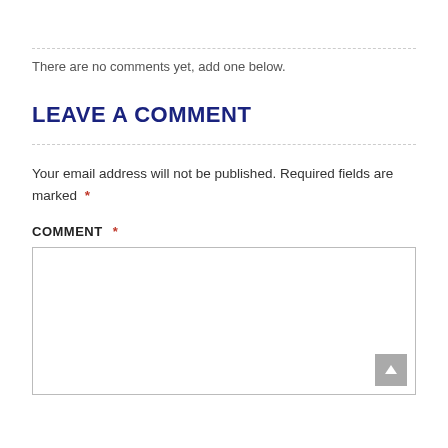There are no comments yet, add one below.
LEAVE A COMMENT
Your email address will not be published. Required fields are marked *
COMMENT *